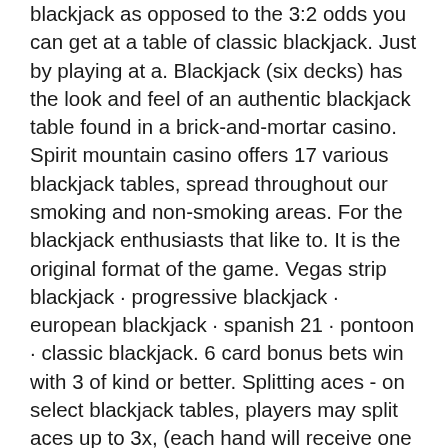blackjack as opposed to the 3:2 odds you can get at a table of classic blackjack. Just by playing at a. Blackjack (six decks) has the look and feel of an authentic blackjack table found in a brick-and-mortar casino. Spirit mountain casino offers 17 various blackjack tables, spread throughout our smoking and non-smoking areas. For the blackjack enthusiasts that like to. It is the original format of the game. Vegas strip blackjack · progressive blackjack · european blackjack · spanish 21 · pontoon · classic blackjack. 6 card bonus bets win with 3 of kind or better. Splitting aces - on select blackjack tables, players may split aces up to 3x, (each hand will receive one card,. Even though there are many, many different odds, rules and name variations in blackjack; the basic table layout will always stay the same,. Blackjack tables at the casino come with several different sets of rules.